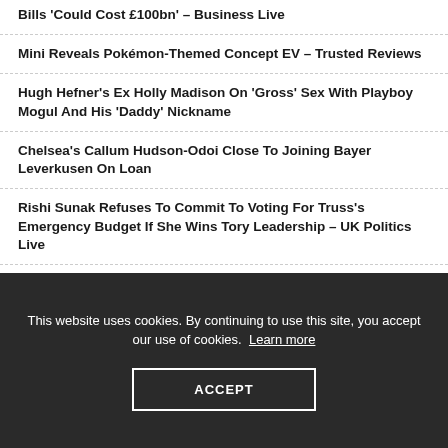Bills 'Could Cost £100bn' – Business Live
Mini Reveals Pokémon-Themed Concept EV – Trusted Reviews
Hugh Hefner's Ex Holly Madison On 'Gross' Sex With Playboy Mogul And His 'Daddy' Nickname
Chelsea's Callum Hudson-Odoi Close To Joining Bayer Leverkusen On Loan
Rishi Sunak Refuses To Commit To Voting For Truss's Emergency Budget If She Wins Tory Leadership – UK Politics Live
This website uses cookies. By continuing to use this site, you accept our use of cookies. Learn more
ACCEPT